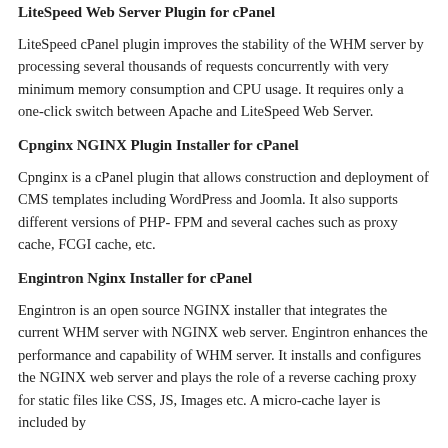LiteSpeed Web Server Plugin for cPanel
LiteSpeed cPanel plugin improves the stability of the WHM server by processing several thousands of requests concurrently with very minimum memory consumption and CPU usage. It requires only a one-click switch between Apache and LiteSpeed Web Server.
Cpnginx NGINX Plugin Installer for cPanel
Cpnginx is a cPanel plugin that allows construction and deployment of CMS templates including WordPress and Joomla. It also supports different versions of PHP- FPM and several caches such as proxy cache, FCGI cache, etc.
Engintron Nginx Installer for cPanel
Engintron is an open source NGINX installer that integrates the current WHM server with NGINX web server. Engintron enhances the performance and capability of WHM server. It installs and configures the NGINX web server and plays the role of a reverse caching proxy for static files like CSS, JS, Images etc. A micro-cache layer is included by